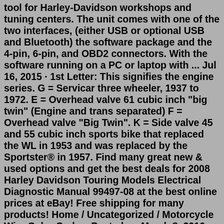tool for Harley-Davidson workshops and tuning centers. The unit comes with one of the two interfaces, (either USB or optional USB and Bluetooth) the software package and the 4-pin, 6-pin, and OBD2 connectors. With the software running on a PC or laptop with ... Jul 16, 2015 · 1st Letter: This signifies the engine series. G = Servicar three wheeler, 1937 to 1972. E = Overhead valve 61 cubic inch "big twin" (Engine and trans separated) F = Overhead valve "Big Twin". K = Side valve 45 and 55 cubic inch sports bike that replaced the WL in 1953 and was replaced by the Sportster® in 1957. Find many great new & used options and get the best deals for 2008 Harley Davidson Touring Models Electrical Diagnostic Manual 99497-08 at the best online prices at eBay! Free shipping for many products! Home / Uncategorized / Motorcycle Wire Color Codes. Posted on March 8, 2016 June 23, 2016 by Lewis Preston Motorcycle Wire Color Codes. DISCLAIMER. ... HARLEY DAVIDSON tail - blue brake - red w/yellow stripe left signal - violet right signal - brown high